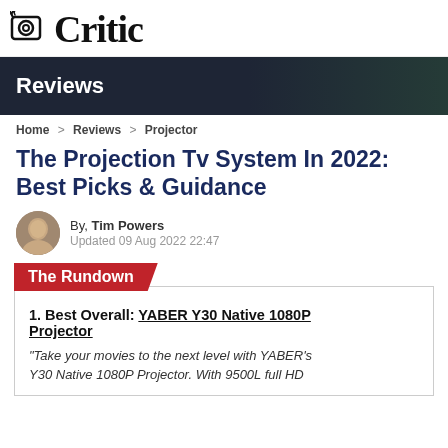Critic
Reviews
Home > Reviews > Projector
The Projection Tv System In 2022: Best Picks & Guidance
By, Tim Powers
Updated 09 Aug 2022 22:47
The Rundown
1. Best Overall: YABER Y30 Native 1080P Projector
"Take your movies to the next level with YABER's Y30 Native 1080P Projector. With 9500L full HD